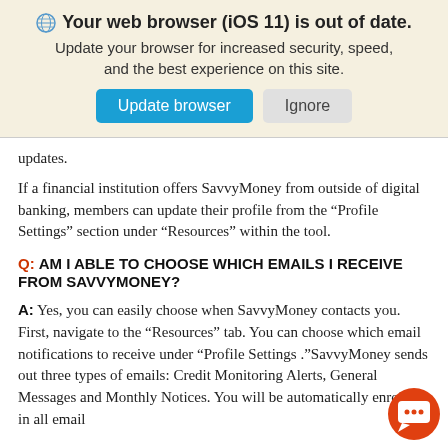[Figure (screenshot): Browser update banner: globe icon, bold title 'Your web browser (iOS 11) is out of date.', subtitle 'Update your browser for increased security, speed, and the best experience on this site.', two buttons: 'Update browser' (blue) and 'Ignore' (gray)]
updates.
If a financial institution offers SavvyMoney from outside of digital banking, members can update their profile from the “Profile Settings” section under “Resources” within the tool.
Q: AM I ABLE TO CHOOSE WHICH EMAILS I RECEIVE FROM SAVVYMONEY?
A: Yes, you can easily choose when SavvyMoney contacts you. First, navigate to the “Resources” tab. You can choose which email notifications to receive under “Profile Settings .”SavvyMoney sends out three types of emails: Credit Monitoring Alerts, General Messages and Monthly Notices. You will be automatically enrolled in all email